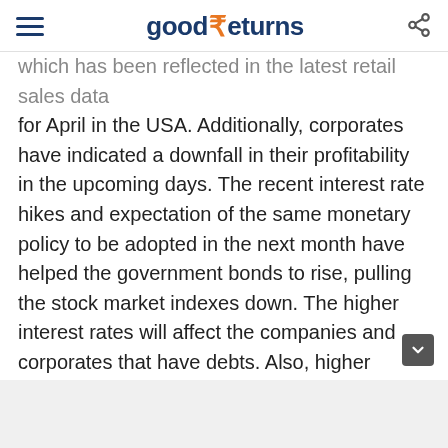goodReturns
which has been reflected in the latest retail sales data for April in the USA. Additionally, corporates have indicated a downfall in their profitability in the upcoming days. The recent interest rate hikes and expectation of the same monetary policy to be adopted in the next month have helped the government bonds to rise, pulling the stock market indexes down. The higher interest rates will affect the companies and corporates that have debts. Also, higher interest rates are initiated to squeeze liquidity in the economy and control inflation. This can again affect the retail demands. So, the downfall in the corporate earnings and equities was expected. Additionally, the US dollar index, which was